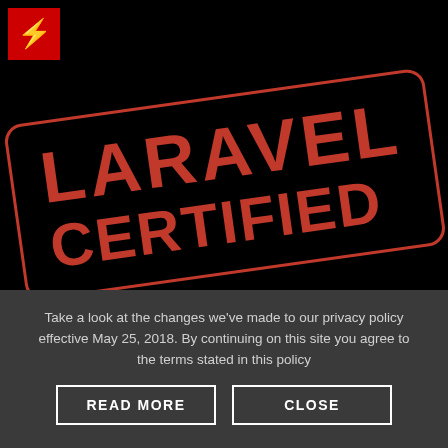[Figure (logo): Laravel Certified stamp/badge logo on dark background. A red square bracket logo with lightning bolt icon in red square top-left. A rotated rectangular stamp with red border and red text reading 'LARAVEL CERTIFIED'.]
Take a look at the changes we've made to our privacy policy effective May 25, 2018. By continuing on this site you agree to the terms stated in this policy
READ MORE
CLOSE